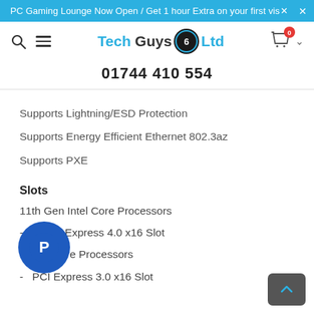PC Gaming Lounge Now Open / Get 1 hour Extra on your first visit ×
[Figure (logo): Tech Guys 6 Ltd logo with search icon, hamburger menu, and cart icon showing 0 items]
01744 410 554
Supports Lightning/ESD Protection
Supports Energy Efficient Ethernet 802.3az
Supports PXE
Slots
11th Gen Intel Core Processors
- 1 x PCI Express 4.0 x16 Slot
n Intel Core Processors
- 1 x PCI Express 3.0 x16 Slot